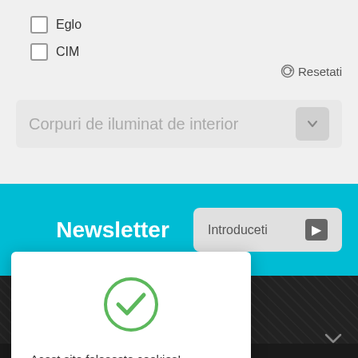Eglo
CIM
Resetati
Corpuri de iluminat de interior
Newsletter
Introduceti
Acest site folosește cookies! Continuarea navigării implică acceptarea lor.
OK